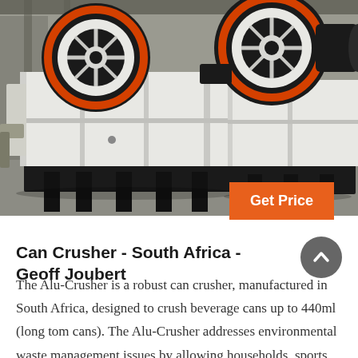[Figure (photo): Industrial jaw crushers (heavy machinery) in white and black with red flywheel rims, mounted on black steel bases, photographed in a factory/warehouse setting.]
Can Crusher - South Africa - Geoff Joubert
The Alu-Crusher is a robust can crusher, manufactured in South Africa, designed to crush beverage cans up to 440ml (long tom cans). The Alu-Crusher addresses environmental waste management issues by allowing households, sports